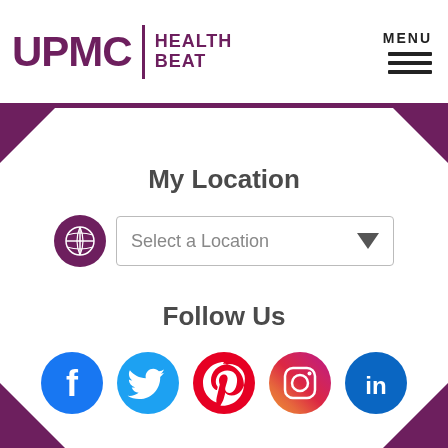UPMC | HEALTH BEAT   MENU
My Location
[Figure (screenshot): Location selector with globe icon and dropdown reading 'Select a Location']
Follow Us
[Figure (infographic): Social media icons: Facebook, Twitter, Pinterest, Instagram, LinkedIn]